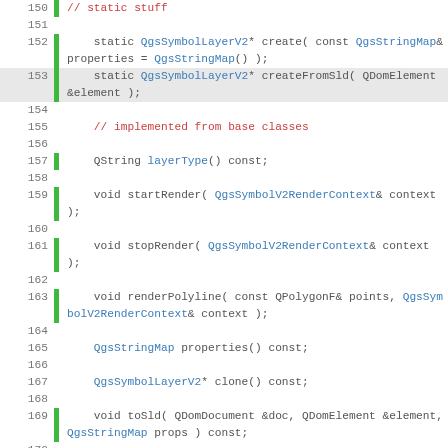[Figure (screenshot): Source code viewer showing C++ header file lines 150-177, with line numbers, green gutter markers on modified lines, and syntax-highlighted code in monospace font. Keywords in dark/gray, identifiers in blue, comments in red.]